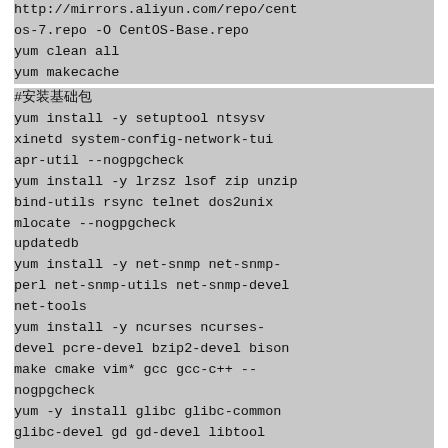http://mirrors.aliyun.com/repo/cent
os-7.repo -O CentOS-Base.repo
yum clean all
yum makecache
#安装基础包
yum install -y setuptool ntsysv xinetd system-config-network-tui apr-util --nogpgcheck
yum install -y lrzsz lsof zip unzip bind-utils rsync telnet dos2unix mlocate --nogpgcheck
updatedb
yum install -y net-snmp net-snmp-perl net-snmp-utils net-snmp-devel net-tools
yum install -y ncurses ncurses-devel pcre-devel bzip2-devel bison make cmake vim* gcc gcc-c++ --nogpgcheck
yum -y install glibc glibc-common glibc-devel gd gd-devel libtool libpcap libpcap-devel gdbm gdbm-devel libdb libdb-devel libtk